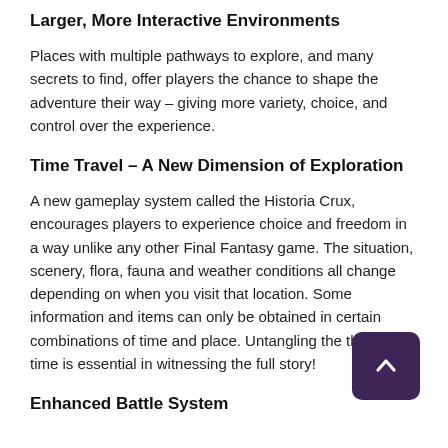Larger, More Interactive Environments
Places with multiple pathways to explore, and many secrets to find, offer players the chance to shape the adventure their way – giving more variety, choice, and control over the experience.
Time Travel – A New Dimension of Exploration
A new gameplay system called the Historia Crux, encourages players to experience choice and freedom in a way unlike any other Final Fantasy game. The situation, scenery, flora, fauna and weather conditions all change depending on when you visit that location. Some information and items can only be obtained in certain combinations of time and place. Untangling the threads of time is essential in witnessing the full story!
Enhanced Battle System